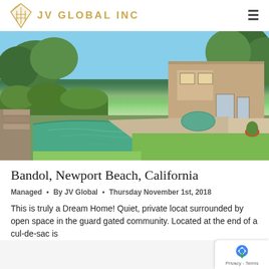JV GLOBAL INC
[Figure (photo): Exterior backyard photo of a luxury home in Bandol, Newport Beach, California, featuring a large swimming pool with green-tinted water, stone landscaping, patio area, and a two-story tan/beige stucco house surrounded by mature trees.]
Bandol, Newport Beach, California
Managed • By JV Global • Thursday November 1st, 2018
This is truly a Dream Home! Quiet, private locat surrounded by open space in the guard gated community. Located at the end of a cul-de-sac is